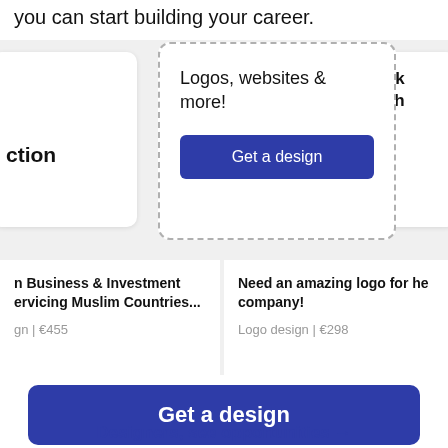you can start building your career.
Logos, websites & more!
Get a design
ction
Look
soph
Logo
n Business & Investment
ervicing Muslim Countries...
gn | €455
Need an amazing logo for he
company!
Logo design | €298
Get a design
Designers, see opportunities →